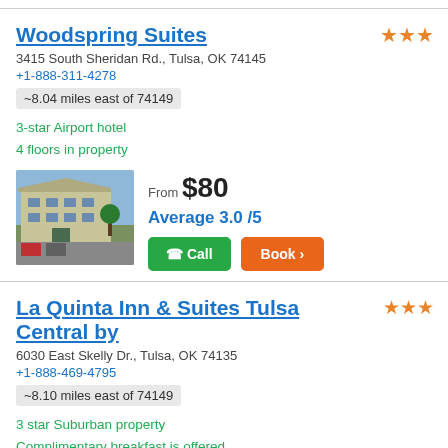Woodspring Suites
3415 South Sheridan Rd., Tulsa, OK 74145
+1-888-311-4278
~8.04 miles east of 74149
3-star Airport hotel
4 floors in property
[Figure (photo): Exterior photo of Woodspring Suites hotel building]
From $80
Average 3.0 /5
La Quinta Inn & Suites Tulsa Central by
6030 East Skelly Dr., Tulsa, OK 74135
+1-888-469-4795
~8.10 miles east of 74149
3 star Suburban property
Complimentary breakfast is offered